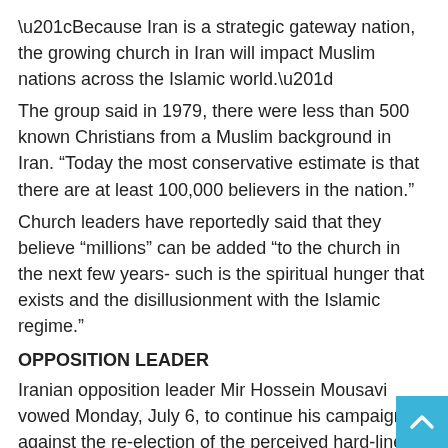“Because Iran is a strategic gateway nation, the growing church in Iran will impact Muslim nations across the Islamic world.”
The group said in 1979, there were less than 500 known Christians from a Muslim background in Iran. “Today the most conservative estimate is that there are at least 100,000 believers in the nation.”
Church leaders have reportedly said that they believe “millions” can be added “to the church in the next few years- such is the spiritual hunger that exists and the disillusionment with the Islamic regime.”
OPPOSITION LEADER
Iranian opposition leader Mir Hossein Mousavi vowed Monday, July 6, to continue his campaign against the re-election of the perceived hard-line President Mahmoud Ahmadinejad.
However Iran’s supreme leader Ayatollah Ali Khamenei has banned demonstrations and accused Western leaders for their